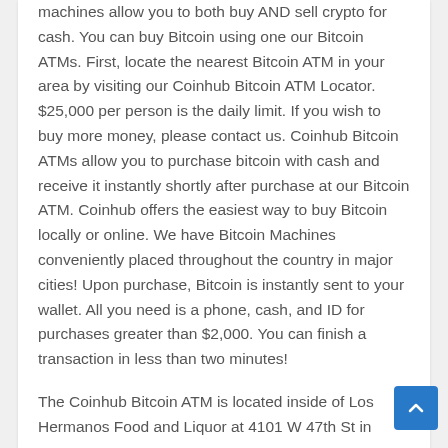machines allow you to both buy AND sell crypto for cash. You can buy Bitcoin using one our Bitcoin ATMs. First, locate the nearest Bitcoin ATM in your area by visiting our Coinhub Bitcoin ATM Locator. $25,000 per person is the daily limit. If you wish to buy more money, please contact us. Coinhub Bitcoin ATMs allow you to purchase bitcoin with cash and receive it instantly shortly after purchase at our Bitcoin ATM. Coinhub offers the easiest way to buy Bitcoin locally or online. We have Bitcoin Machines conveniently placed throughout the country in major cities! Upon purchase, Bitcoin is instantly sent to your wallet. All you need is a phone, cash, and ID for purchases greater than $2,000. You can finish a transaction in less than two minutes!
The Coinhub Bitcoin ATM is located inside of Los Hermanos Food and Liquor at 4101 W 47th St in